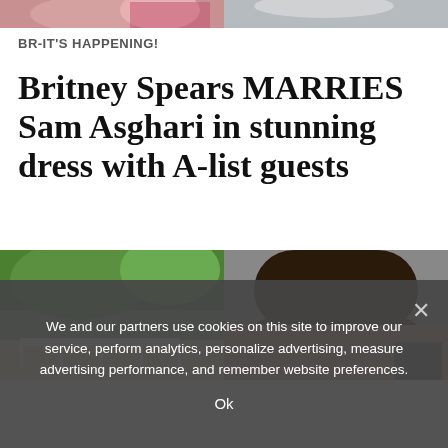[Figure (photo): Two cropped celebrity photos side by side at the top of the page]
BR-IT'S HAPPENING!
Britney Spears MARRIES Sam Asghari in stunning dress with A-list guests
[Figure (photo): Left: outdoor venue with trees and white fence; Right: man's head with dark hair against grey background]
We and our partners use cookies on this site to improve our service, perform analytics, personalize advertising, measure advertising performance, and remember website preferences.
Ok